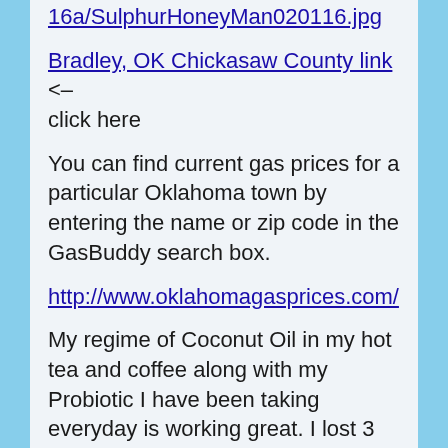16a/SulphurHoneyMan020116.jpg
Bradley, OK Chickasaw County link <– click here
You can find current gas prices for a particular Oklahoma town by entering the name or zip code in the GasBuddy search box.
http://www.oklahomagasprices.com/
My regime of Coconut Oil in my hot tea and coffee along with my Probiotic I have been taking everyday is working great. I lost 3 pounds in 3 days since